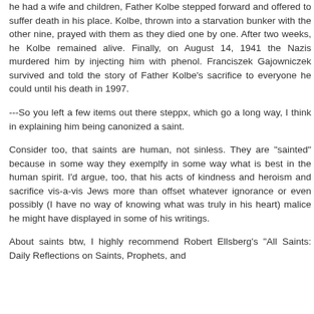he had a wife and children, Father Kolbe stepped forward and offered to suffer death in his place. Kolbe, thrown into a starvation bunker with the other nine, prayed with them as they died one by one. After two weeks, he Kolbe remained alive. Finally, on August 14, 1941 the Nazis murdered him by injecting him with phenol. Franciszek Gajowniczek survived and told the story of Father Kolbe's sacrifice to everyone he could until his death in 1997.
---So you left a few items out there steppx, which go a long way, I think in explaining him being canonized a saint.
Consider too, that saints are human, not sinless. They are "sainted" because in some way they exemplfy in some way what is best in the human spirit. I'd argue, too, that his acts of kindness and heroism and sacrifice vis-a-vis Jews more than offset whatever ignorance or even possibly (I have no way of knowing what was truly in his heart) malice he might have displayed in some of his writings.
About saints btw, I highly recommend Robert Ellsberg's "All Saints: Daily Reflections on Saints, Prophets, and